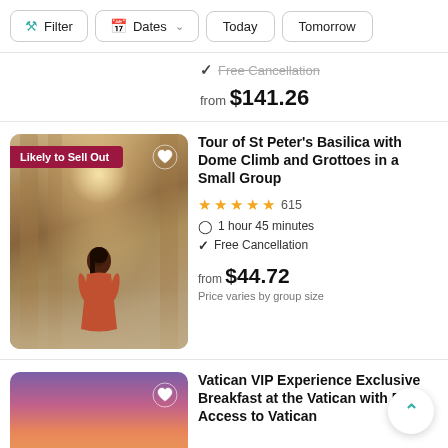Filter | Dates | Today | Tomorrow
Free Cancellation
from $141.26
[Figure (photo): Interior of St Peter's Basilica with a woman in a red dress looking toward the altar. Badge reads 'Likely to Sell Out'.]
Tour of St Peter's Basilica with Dome Climb and Grottoes in a Small Group
★★★★★ 615
1 hour 45 minutes
Free Cancellation
from $44.72
Price varies by group size
[Figure (photo): Sunset sky in pink, purple and orange hues — thumbnail for Vatican VIP Experience listing.]
Vatican VIP Experience Exclusive Breakfast at the Vatican with Ea... Access to Vatican